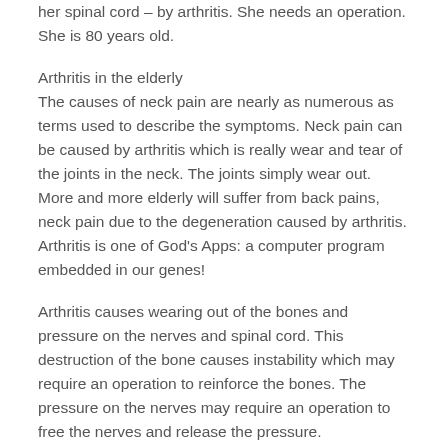her spinal cord – by arthritis. She needs an operation. She is 80 years old.
Arthritis in the elderly
The causes of neck pain are nearly as numerous as terms used to describe the symptoms. Neck pain can be caused by arthritis which is really wear and tear of the joints in the neck. The joints simply wear out. More and more elderly will suffer from back pains, neck pain due to the degeneration caused by arthritis. Arthritis is one of God's Apps: a computer program embedded in our genes!
Arthritis causes wearing out of the bones and pressure on the nerves and spinal cord. This destruction of the bone causes instability which may require an operation to reinforce the bones. The pressure on the nerves may require an operation to free the nerves and release the pressure.
Other causes of neck pain and spine of...